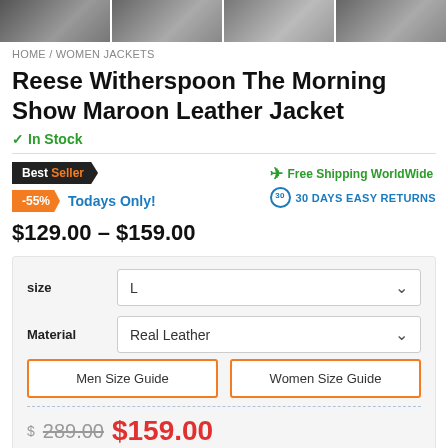[Figure (photo): Four thumbnail images of a maroon leather jacket shown from different angles]
HOME / WOMEN JACKETS
Reese Witherspoon The Morning Show Maroon Leather Jacket
✓ In Stock
Best Seller | -55% Todays Only! | Free Shipping WorldWide | 30 DAYS EASY RETURNS
$129.00 – $159.00
| size | L |
| --- | --- |
| Material | Real Leather |
Men Size Guide
Women Size Guide
$ 289.00  $159.00